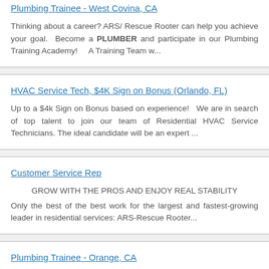Plumbing Trainee - West Covina, CA
Thinking about a career? ARS/ Rescue Rooter can help you achieve your goal.  Become a PLUMBER and participate in our Plumbing Training Academy!    A Training Team w...
HVAC Service Tech, $4K Sign on Bonus (Orlando, FL)
Up to a $4k Sign on Bonus based on experience!   We are in search of top talent to join our team of Residential HVAC Service Technicians. The ideal candidate will be an expert ...
Customer Service Rep
GROW WITH THE PROS AND ENJOY REAL STABILITY Only the best of the best work for the largest and fastest-growing leader in residential services: ARS-Rescue Rooter...
Plumbing Trainee - Orange, CA